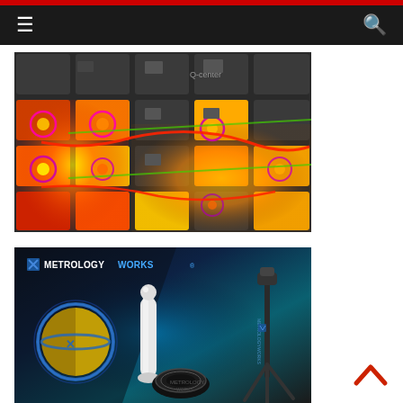Navigation bar with hamburger menu and search icon
[Figure (photo): Thermal imaging photograph of electronic PCB components, showing heat distribution with orange, yellow, green and red color gradients overlaid on circuit board with black components and red wiring. Text 'Q-center' visible in upper right area.]
[Figure (photo): MetrologyWorks branded promotional image on dark blue background showing metrology equipment including a spherical probe tool, a circular lens/adapter component, a tripod stand, and a blue-ringed precision target sphere. MetrologyWorks logo with blue X icon in upper left.]
[Figure (other): Red upward-pointing chevron/arrow scroll-to-top button in bottom right corner]